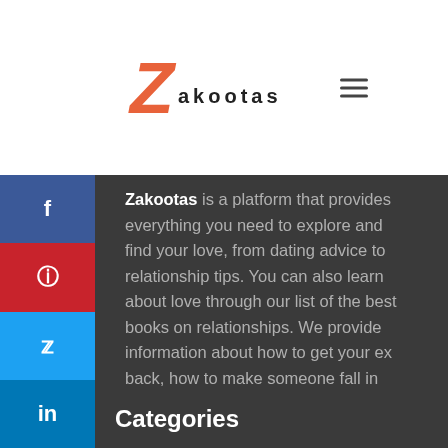Zakootas
Zakootas is a platform that provides everything you need to explore and find your love, from dating advice to relationship tips. You can also learn about love through our list of the best books on relationships. We provide information about how to get your ex back, how to make someone fall in love with you etc.
Categories